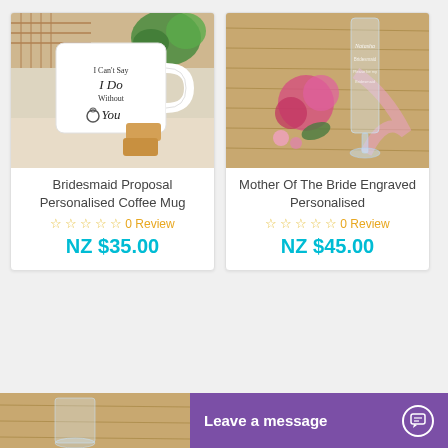[Figure (photo): Product card showing a white coffee mug with text 'I Can't Say I Do Without You' next to cookies and a plant]
Bridesmaid Proposal Personalised Coffee Mug
☆ ☆ ☆ ☆ ☆  0 Review
NZ $35.00
[Figure (photo): Product card showing an engraved personalized glass flute with roses and pink ribbon]
Mother Of The Bride Engraved Personalised
☆ ☆ ☆ ☆ ☆  0 Review
NZ $45.00
[Figure (photo): Partial product image at bottom showing wooden surface and glass]
Leave a message